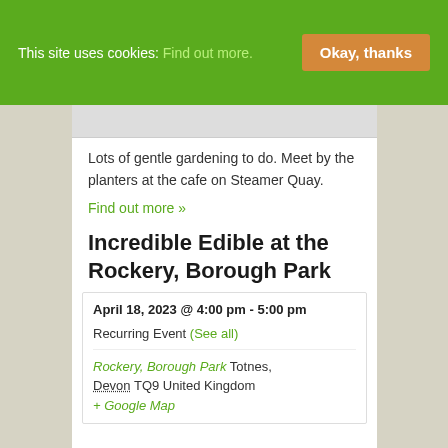This site uses cookies: Find out more. Okay, thanks
[Figure (other): Partial image placeholder at top of content card]
Lots of gentle gardening to do. Meet by the planters at the cafe on Steamer Quay.
Find out more »
Incredible Edible at the Rockery, Borough Park
April 18, 2023 @ 4:00 pm - 5:00 pm
Recurring Event (See all)
Rockery, Borough Park Totnes, Devon TQ9 United Kingdom + Google Map